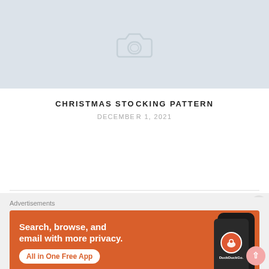[Figure (photo): Image placeholder with camera icon on light blue-grey background]
CHRISTMAS STOCKING PATTERN
DECEMBER 1, 2021
Advertisements
[Figure (screenshot): DuckDuckGo advertisement banner: 'Search, browse, and email with more privacy. All in One Free App' on orange background with phone mockup showing DuckDuckGo logo]